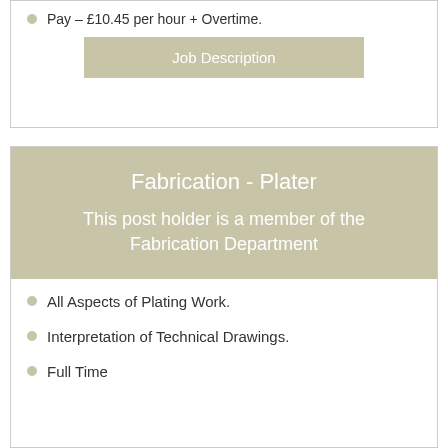Pay – £10.45 per hour + Overtime.
Job Description
Fabrication - Plater
This post holder is a member of the Fabrication Department
All Aspects of Plating Work.
Interpretation of Technical Drawings.
Full Time